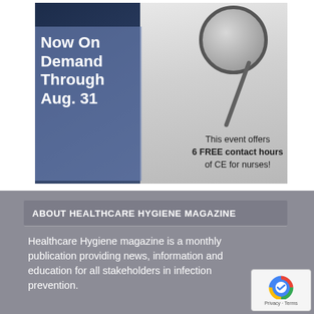[Figure (photo): Promotional banner for a healthcare event on hygiene and infection prevention. Shows a stethoscope on a light background with a keyboard on the left side. Text overlay: 'Now On Demand Through Aug. 31' and 'This event offers 6 FREE contact hours of CE for nurses!']
ABOUT HEALTHCARE HYGIENE MAGAZINE
Healthcare Hygiene magazine is a monthly publication providing news, information and education for all stakeholders in infection prevention.